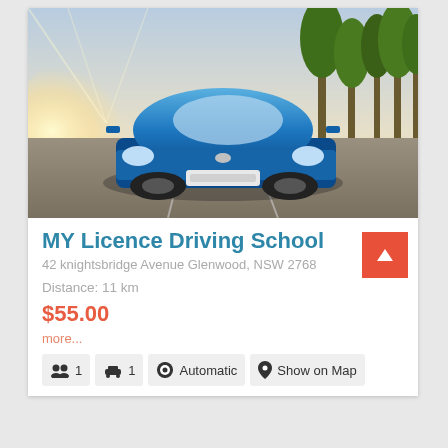[Figure (photo): Blue hatchback car driving on a road with trees and motion blur background]
MY Licence Driving School
42 knightsbridge Avenue Glenwood, NSW 2768
Distance: 11 km
$55.00
more...
1  1  Automatic  Show on Map